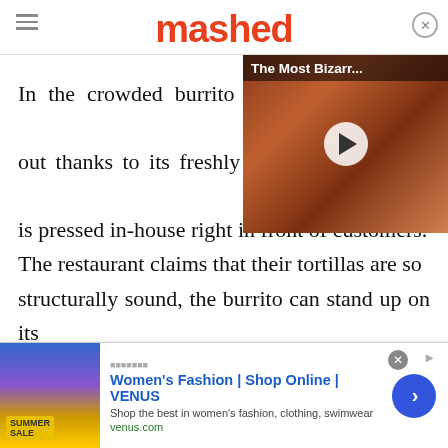mashed
[Figure (screenshot): Video overlay showing food (burger and fries) with play button and title 'The Most Bizarr...']
In the crowded burrito market, [Pancheros] stands out thanks to its freshly made tortilla dough that is pressed in-house right in front of customers. The restaurant claims that their tortillas are so structurally sound, the burrito can stand up on its own. Another Pancheros calling card is what the chain calls "Bob the Tool," a specially designed plastic spatula used to mix all the burrito
[Figure (screenshot): Advertisement: Women's Fashion | Shop Online | VENUS - Shop the best in women's fashion, clothing, swimwear - venus.com]